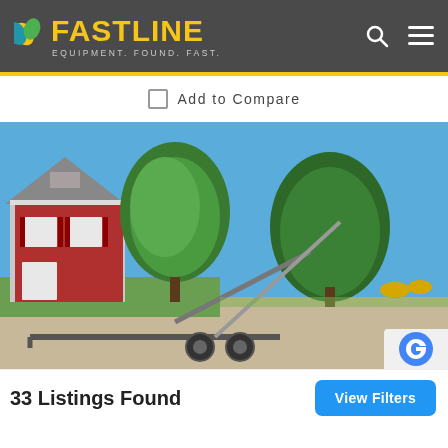FASTLINE — EQUIPMENT. FOUND. FAST.
Add to Compare
[Figure (photo): Agricultural grain auger/conveyor lying at an angle on a gravel driveway in front of a red two-story farmhouse with green trees and blue sky in the background.]
33 Listings Found
View Filters